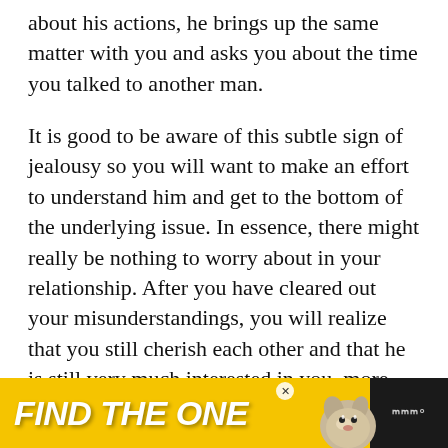about his actions, he brings up the same matter with you and asks you about the time you talked to another man.
It is good to be aware of this subtle sign of jealousy so you will want to make an effort to understand him and get to the bottom of the underlying issue. In essence, there might really be nothing to worry about in your relationship. After you have cleared out your misunderstandings, you will realize that you still cherish each other and that he is still very much interested in you, more than his fleeting fascination with other women.
[Figure (other): Advertisement banner with yellow background showing text 'FIND THE ONE' in bold italic white letters with a dog image and a close button, on a dark background with music streaming service logo.]